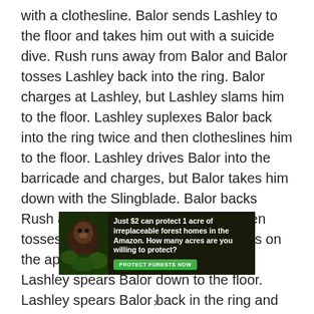with a clothesline. Balor sends Lashley to the floor and takes him out with a suicide dive. Rush runs away from Balor and Balor tosses Lashley back into the ring. Balor charges at Lashley, but Lashley slams him to the floor. Lashley suplexes Balor back into the ring twice and then clotheslines him to the floor. Lashley drives Balor into the barricade and charges, but Balor takes him down with the Slingblade. Balor backs Rush away by growling at him and then tosses Lashley into the ring. Balor gets on the apron, but Rush distracts him and Lashley spears Balor down to the floor. Lashley spears Balor back in the ring and goes for the cover, but Balor kicks out at two. Lashley picks Balor up, but Balor elbows his way free. Balor knees Lashley in the face and then delivers a power bomb. Balor
[Figure (infographic): Advertisement banner for Amazon forest protection: 'Just $2 can protect 1 acre of irreplaceable forest homes in the Amazon. How many acres are you willing to protect?' with a green 'PROTECT FORESTS NOW' button. Background shows forest/orangutan imagery.]